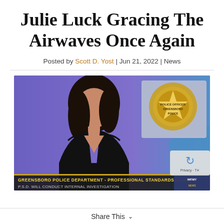Julie Luck Gracing The Airwaves Once Again
Posted by Scott D. Yost | Jun 21, 2022 | News
[Figure (photo): News broadcast screenshot showing a female news anchor in a black sleeveless dress in front of a purple studio background with a Greensboro Police Department badge graphic. Lower-third chyron reads: GREENSBORO POLICE DEPARTMENT - PROFESSIONAL STANDARDS DIVISION / P.S.D. WILL CONDUCT INTERNAL INVESTIGATION]